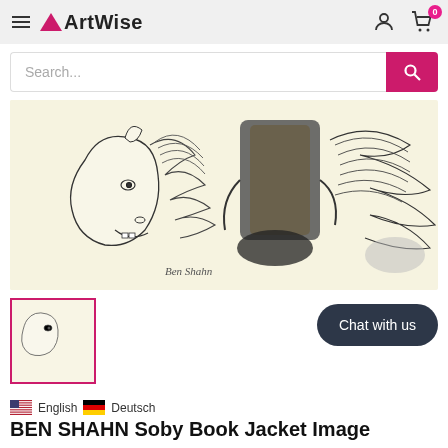ArtWise
[Figure (illustration): ArtWise logo with pink triangle and bold text 'ArtWise']
[Figure (photo): Product image of Ben Shahn Soby Book Jacket with pencil/ink drawing of a unicorn-like horse head and abstract swirling figures on cream background]
[Figure (photo): Small thumbnail of the same Ben Shahn artwork with pink border]
Chat with us
English  Deutsch
BEN SHAHN Soby Book Jacket Image